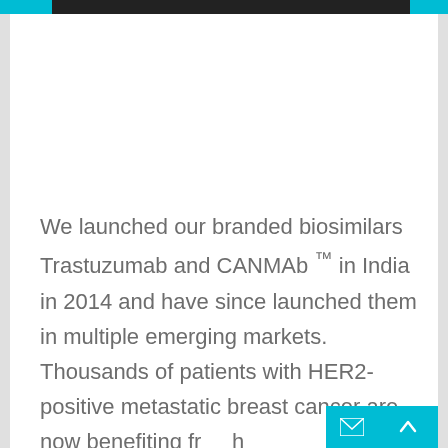We launched our branded biosimilars Trastuzumab and CANMAb ™ in India in 2014 and have since launched them in multiple emerging markets. Thousands of patients with HER2-positive metastatic breast cancer are now benefiting fr...h